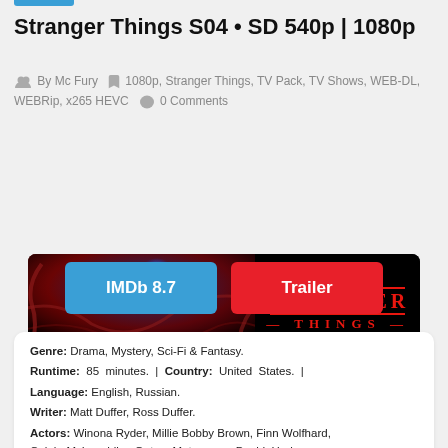Stranger Things S04 • SD 540p | 1080p
By Mc Fury  1080p, Stranger Things, TV Pack, TV Shows, WEB-DL, WEBRip, x265 HEVC  0 Comments
[Figure (illustration): Stranger Things promotional banner with characters and red logo on black background]
IMDb 8.7
Trailer
Genre: Drama, Mystery, Sci-Fi & Fantasy. Runtime: 85 minutes. | Country: United States. | Language: English, Russian. Writer: Matt Duffer, Ross Duffer. Actors: Winona Ryder, Millie Bobby Brown, Finn Wolfhard, Caleb McLaughlin, Gaten Matarazzo, David Harbour, Natalia Dyer, Charlie Heaton, Myles Truitt.